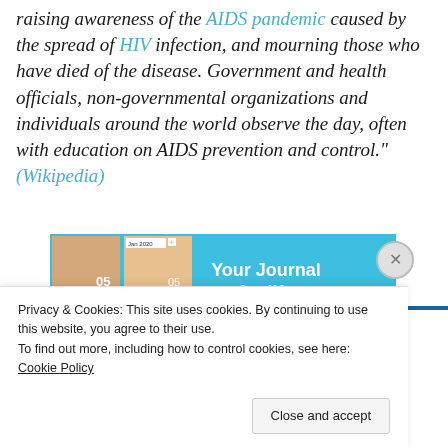raising awareness of the AIDS pandemic caused by the spread of HIV infection, and mourning those who have died of the disease. Government and health officials, non-governmental organizations and individuals around the world observe the day, often with education on AIDS prevention and control." (Wikipedia)
[Figure (screenshot): App advertisement showing 'Your Journal for life' with a photo grid on the left and a Get the app button on a blue background]
Privacy & Cookies: This site uses cookies. By continuing to use this website, you agree to their use.
To find out more, including how to control cookies, see here: Cookie Policy